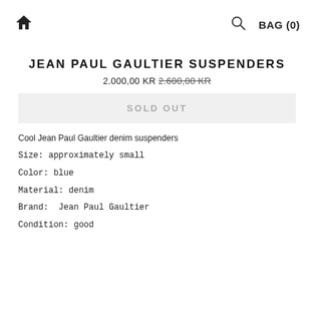🏠  🔍  BAG (0)
JEAN PAUL GAULTIER SUSPENDERS
2.000,00 KR 2.600,00 KR
SOLD OUT
Cool Jean Paul Gaultier denim suspenders
Size: approximately small
Color: blue
Material: denim
Brand:  Jean Paul Gaultier
Condition: good